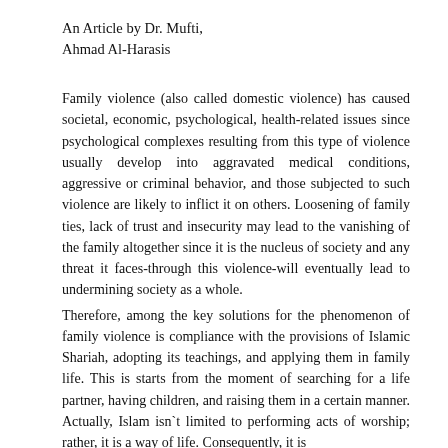An Article by Dr. Mufti,
Ahmad Al-Harasis
Family violence (also called domestic violence) has caused societal, economic, psychological, health-related issues since psychological complexes resulting from this type of violence usually develop into aggravated medical conditions, aggressive or criminal behavior, and those subjected to such violence are likely to inflict it on others. Loosening of family ties, lack of trust and insecurity may lead to the vanishing of the family altogether since it is the nucleus of society and any threat it faces-through this violence-will eventually lead to undermining society as a whole.
Therefore, among the key solutions for the phenomenon of family violence is compliance with the provisions of Islamic Shariah, adopting its teachings, and applying them in family life. This is starts from the moment of searching for a life partner, having children, and raising them in a certain manner. Actually, Islam isn`t limited to performing acts of worship; rather, it is a way of life. Consequently, it is